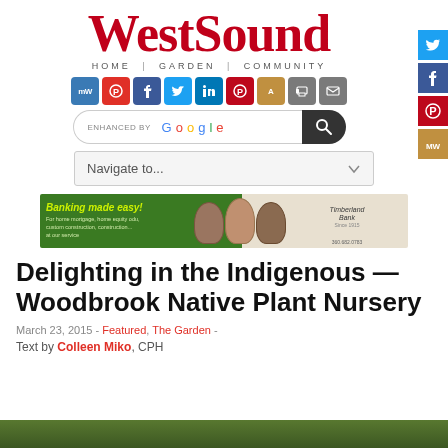WestSound HOME | GARDEN | COMMUNITY
[Figure (screenshot): Social media sharing icons row: MindWire, Pinterest, Facebook, Twitter, LinkedIn, Pinterest, Translate, Print, Email]
[Figure (screenshot): Google search bar with search button]
[Figure (screenshot): Navigate to... dropdown menu]
[Figure (screenshot): Timberlane Bank advertisement banner: Banking made easy!]
Delighting in the Indigenous — Woodbrook Native Plant Nursery
March 23, 2015  -  Featured, The Garden  -
Text by Colleen Miko, CPH
[Figure (photo): Green foliage photo strip at the bottom of the page]